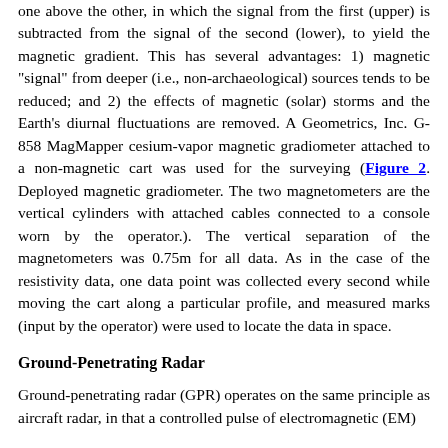one above the other, in which the signal from the first (upper) is subtracted from the signal of the second (lower), to yield the magnetic gradient. This has several advantages: 1) magnetic "signal" from deeper (i.e., non-archaeological) sources tends to be reduced; and 2) the effects of magnetic (solar) storms and the Earth's diurnal fluctuations are removed. A Geometrics, Inc. G-858 MagMapper cesium-vapor magnetic gradiometer attached to a non-magnetic cart was used for the surveying (Figure 2. Deployed magnetic gradiometer. The two magnetometers are the vertical cylinders with attached cables connected to a console worn by the operator.). The vertical separation of the magnetometers was 0.75m for all data. As in the case of the resistivity data, one data point was collected every second while moving the cart along a particular profile, and measured marks (input by the operator) were used to locate the data in space.
Ground-Penetrating Radar
Ground-penetrating radar (GPR) operates on the same principle as aircraft radar, in that a controlled pulse of electromagnetic (EM)